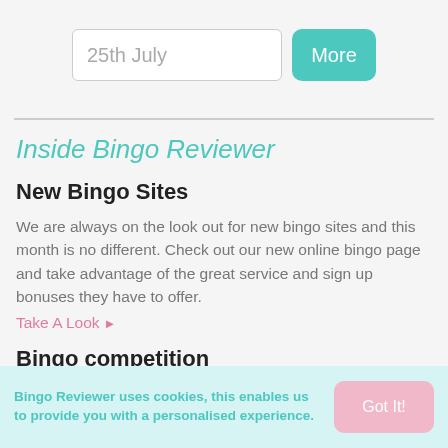25th July
Inside Bingo Reviewer
New Bingo Sites
We are always on the look out for new bingo sites and this month is no different. Check out our new online bingo page and take advantage of the great service and sign up bonuses they have to offer.
Take A Look ▶
Bingo competition
This month we have a host of great bingo competitions. Enter to win a 16GB iPad 2 as well as other cool prizes. Don't forget to take a look at our no deposit bingo offers too, simply click the offers tab.
Bingo Reviewer uses cookies, this enables us to provide you with a personalised experience.